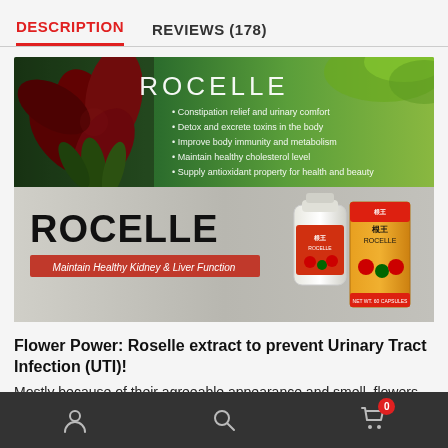DESCRIPTION    REVIEWS (178)
[Figure (illustration): Two-part product banner for ROCELLE. Top half: green nature/floral background with large red roselle flower on left, brand name ROCELLE in white, and bullet points listing product benefits: Constipation relief and urinary comfort, Detox and excrete toxins in the body, Improve body immunity and metabolism, Maintain healthy cholesterol level, Supply antioxidant property for health and beauty. Bottom half: grey/silver background with large bold ROCELLE text, tagline 'Maintain Healthy Kidney & Liver Function' in red banner, and product photo of bottle and box on right.]
Flower Power: Roselle extract to prevent Urinary Tract Infection (UTI)!
Mostly because of their agreeable appearance and smell, flowers are particularly loved by humans. In fact, flowers are a real treasure of
User icon   Search icon   Cart icon (0)